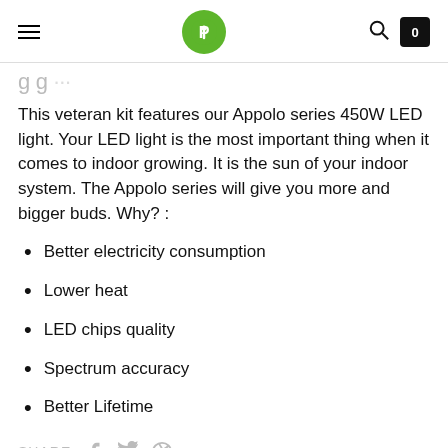Navigation header with hamburger menu, Appolo logo, search icon, and cart (0)
This veteran kit features our Appolo series 450W LED light. Your LED light is the most important thing when it comes to indoor growing. It is the sun of your indoor system. The Appolo series will give you more and bigger buds. Why? :
Better electricity consumption
Lower heat
LED chips quality
Spectrum accuracy
Better Lifetime
SHARE